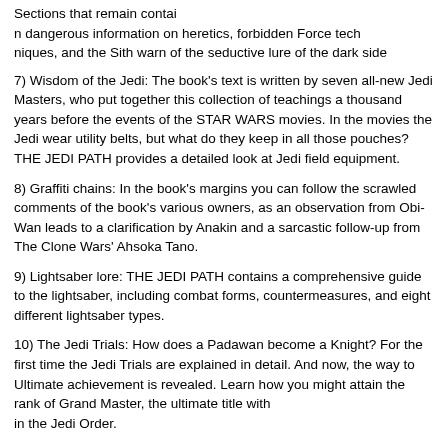Sections that remain contain dangerous information on heretics, forbidden Force techniques, and the Sith warn of the seductive lure of the dark side
7) Wisdom of the Jedi: The book's text is written by seven all-new Jedi Masters, who put together this collection of teachings a thousand years before the events of the STAR WARS movies. In the movies the Jedi wear utility belts, but what do they keep in all those pouches? THE JEDI PATH provides a detailed look at Jedi field equipment.
8) Graffiti chains: In the book's margins you can follow the scrawled comments of the book's various owners, as an observation from Obi-Wan leads to a clarification by Anakin and a sarcastic follow-up from The Clone Wars' Ahsoka Tano.
9) Lightsaber lore: THE JEDI PATH contains a comprehensive guide to the lightsaber, including combat forms, countermeasures, and eight different lightsaber types.
10) The Jedi Trials: How does a Padawan become a Knight? For the first time the Jedi Trials are explained in detail. And now, the way to Ultimate achievement is revealed. Learn how you might attain the rank of Grand Master, the ultimate title with in the Jedi Order.
See more about it at www.amazon.com/jedipath and there is also a cool Lucasfilm trailer there.